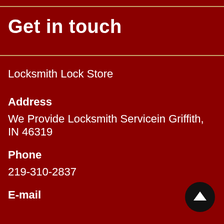Get in touch
Locksmith Lock Store
Address
We Provide Locksmith Servicein Griffith, IN 46319
Phone
219-310-2837
E-mail